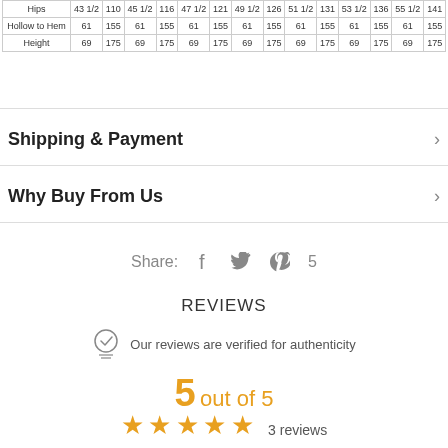| Hips | 43 1/2 | 110 | 45 1/2 | 116 | 47 1/2 | 121 | 49 1/2 | 126 | 51 1/2 | 131 | 53 1/2 | 136 | 55 1/2 | 141 |
| Hollow to Hem | 61 | 155 | 61 | 155 | 61 | 155 | 61 | 155 | 61 | 155 | 61 | 155 | 61 | 155 |
| Height | 69 | 175 | 69 | 175 | 69 | 175 | 69 | 175 | 69 | 175 | 69 | 175 | 69 | 175 |
Shipping & Payment
Why Buy From Us
Share:
REVIEWS
Our reviews are verified for authenticity
5 out of 5
3 reviews